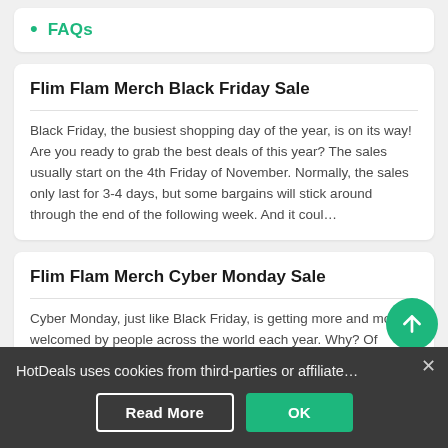FAQs
Flim Flam Merch Black Friday Sale
Black Friday, the busiest shopping day of the year, is on its way! Are you ready to grab the best deals of this year? The sales usually start on the 4th Friday of November. Normally, the sales only last for 3-4 days, but some bargains will stick around through the end of the following week. And it coul…
Flim Flam Merch Cyber Monday Sale
Cyber Monday, just like Black Friday, is getting more and more welcomed by people across the world each year. Why? Of course, the increasingly attractive deals are the key! The date of Cyber Monday is the first Monday after the Black Friday. Generally, when Black Friday sales end, Cyber…
Flim Flam Merch Printable Coupons
Printable coupons drove to a download page for the…
HotDeals uses cookies from third-parties or affiliate…